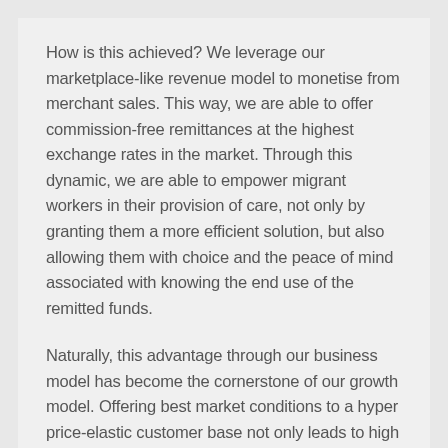How is this achieved? We leverage our marketplace-like revenue model to monetise from merchant sales. This way, we are able to offer commission-free remittances at the highest exchange rates in the market. Through this dynamic, we are able to empower migrant workers in their provision of care, not only by granting them a more efficient solution, but also allowing them with choice and the peace of mind associated with knowing the end use of the remitted funds.
Naturally, this advantage through our business model has become the cornerstone of our growth model. Offering best market conditions to a hyper price-elastic customer base not only leads to high retention, but also sets the arena for exponential organic growth. Being able to acquire and activate far cheaper than our competition, leaves us with a clear task at hand: